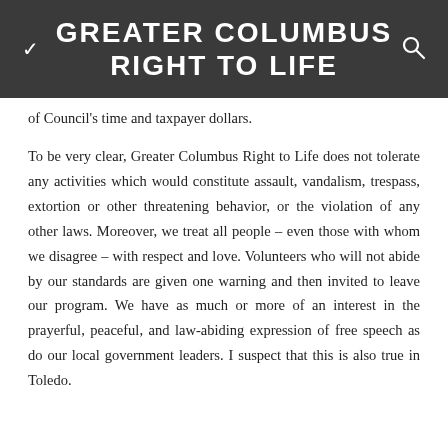GREATER COLUMBUS RIGHT TO LIFE
of Council's time and taxpayer dollars.
To be very clear, Greater Columbus Right to Life does not tolerate any activities which would constitute assault, vandalism, trespass, extortion or other threatening behavior, or the violation of any other laws. Moreover, we treat all people – even those with whom we disagree – with respect and love. Volunteers who will not abide by our standards are given one warning and then invited to leave our program. We have as much or more of an interest in the prayerful, peaceful, and law-abiding expression of free speech as do our local government leaders. I suspect that this is also true in Toledo.